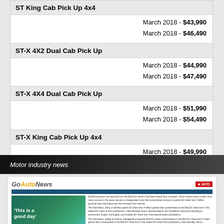ST King Cab Pick Up 4x4
March 2018 - $43,990
March 2018 - $46,490
ST-X 4X2 Dual Cab Pick Up
March 2018 - $44,990
March 2018 - $47,490
ST-X 4X4 Dual Cab Pick Up
March 2018 - $51,990
March 2018 - $54,490
ST-X King Cab Pick Up 4x4
March 2018 - $49,990
March 2018 - $52,490
Motor industry news
[Figure (screenshot): GoAutoNews website screenshot showing JATO logo and article headline 'This is a good day' with article text columns]